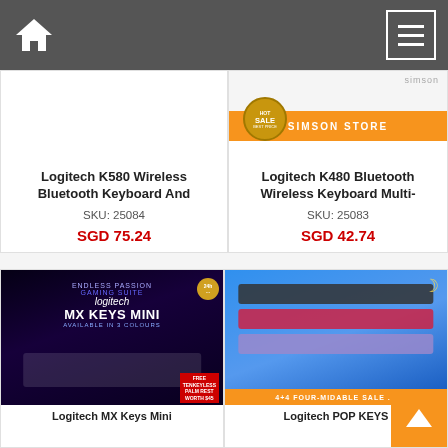Navigation bar with home icon and menu icon
[Figure (screenshot): Logitech K580 Wireless Bluetooth Keyboard And product card showing SKU: 25084, price SGD 75.24]
[Figure (screenshot): Logitech K480 Bluetooth Wireless Keyboard Multi- product card with Simson Store banner, HOT SALE badge, SKU: 25083, price SGD 42.74]
[Figure (screenshot): Logitech MX Keys Mini product card with dark background product image]
[Figure (screenshot): Logitech POP KEYS product card with colorful keyboards on blue background]